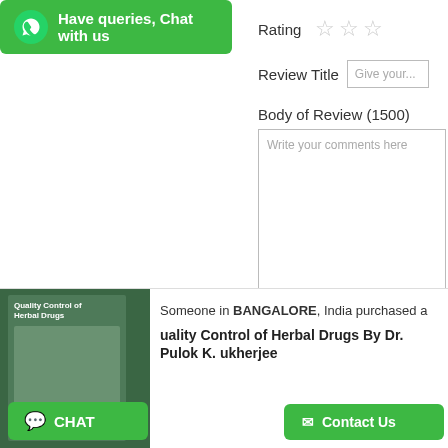[Figure (screenshot): WhatsApp chat button — green rounded rectangle with WhatsApp phone icon and text 'Have queries, Chat with us']
Rating
[Figure (other): Three empty star rating icons]
Review Title
Give your...
Body of Review (1500)
Write your comments here
Someone in BANGALORE, India purchased a
Quality Control of Herbal Drugs By Dr. Pulok K. Mukherjee
[Figure (screenshot): CHAT button — green rounded rectangle with chat icon]
[Figure (screenshot): Contact Us button — green rounded rectangle with email icon]